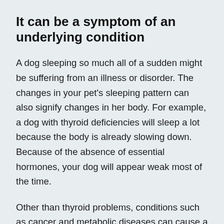It can be a symptom of an underlying condition
A dog sleeping so much all of a sudden might be suffering from an illness or disorder. The changes in your pet's sleeping pattern can also signify changes in her body. For example, a dog with thyroid deficiencies will sleep a lot because the body is already slowing down. Because of the absence of essential hormones, your dog will appear weak most of the time.
Other than thyroid problems, conditions such as cancer and metabolic diseases can cause a dog to sleep a lot. A dog with cancerous tumors is in pain and most cases, our pets cope with pain just by sleeping.
If humans have difficulty sleeping when experiencing pain, it's the other way around for our fur babies. They might resort to